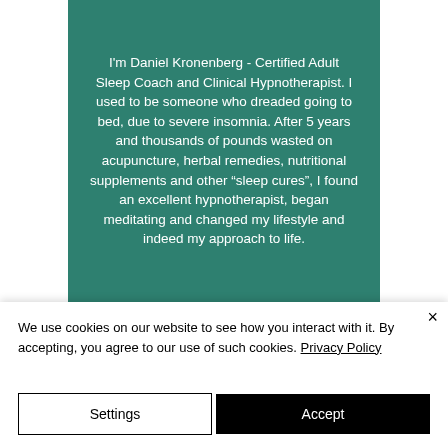I'm Daniel Kronenberg - Certified Adult Sleep Coach and Clinical Hypnotherapist. I used to be someone who dreaded going to bed, due to severe insomnia. After 5 years and thousands of pounds wasted on acupuncture, herbal remedies, nutritional supplements and other "sleep cures", I found an excellent hypnotherapist, began meditating and changed my lifestyle and indeed my approach to life.
We use cookies on our website to see how you interact with it. By accepting, you agree to our use of such cookies. Privacy Policy
Settings
Accept